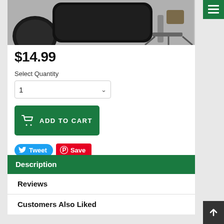[Figure (photo): Product photo showing a black lens case/pouch with a spotting scope on a tripod with camouflage wrap]
$14.99
Select Quantity
ADD TO CART
Tweet
Save
Description
Reviews
Customers Also Liked